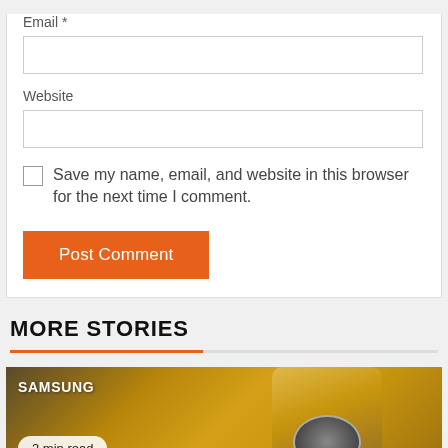Email *
Website
Save my name, email, and website in this browser for the next time I comment.
Post Comment
MORE STORIES
[Figure (photo): Samsung smartphone with gold finish shown from the back with camera module, overlaid with '2 min read' badge and Samsung label]